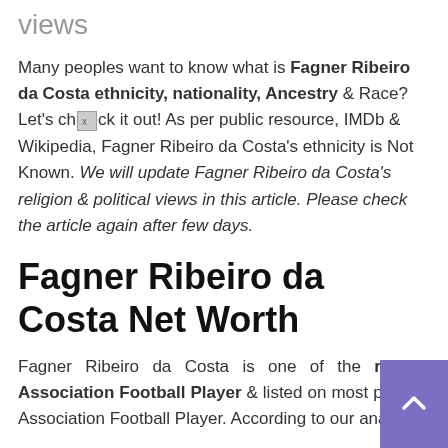views
Many peoples want to know what is Fagner Ribeiro da Costa ethnicity, nationality, Ancestry & Race? Let's check it out! As per public resource, IMDb & Wikipedia, Fagner Ribeiro da Costa's ethnicity is Not Known. We will update Fagner Ribeiro da Costa's religion & political views in this article. Please check the article again after few days.
Fagner Ribeiro da Costa Net Worth
Fagner Ribeiro da Costa is one of the richest Association Football Player & listed on most popular Association Football Player. According to our analysis,